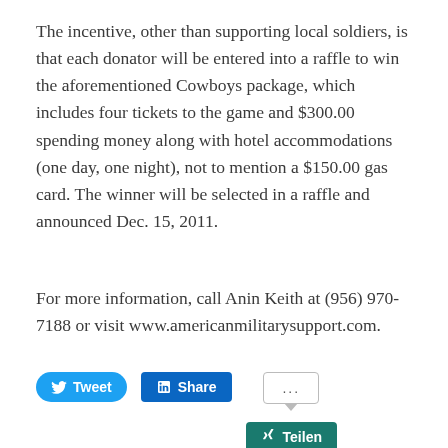The incentive, other than supporting local soldiers, is that each donator will be entered into a raffle to win the aforementioned Cowboys package, which includes four tickets to the game and $300.00 spending money along with hotel accommodations (one day, one night), not to mention a $150.00 gas card. The winner will be selected in a raffle and announced Dec. 15, 2011.
For more information, call Anin Keith at (956) 970-7188 or visit www.americanmilitarysupport.com.
[Figure (screenshot): Social sharing buttons: Tweet (Twitter), Share (LinkedIn), ... (more), Teilen (XING)]
Related
[Figure (photo): Two related article thumbnail images at the bottom of the page]